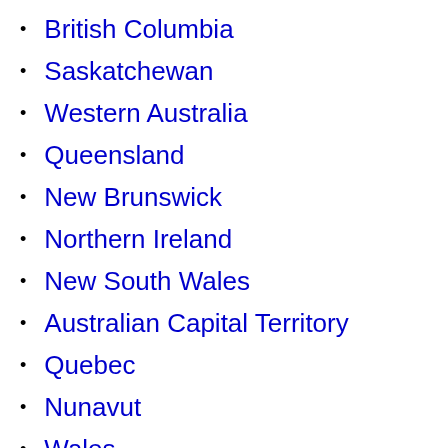British Columbia
Saskatchewan
Western Australia
Queensland
New Brunswick
Northern Ireland
New South Wales
Australian Capital Territory
Quebec
Nunavut
Wales